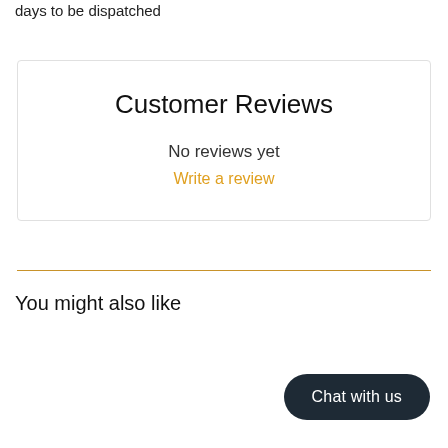days to be dispatched
Customer Reviews
No reviews yet
Write a review
You might also like
Chat with us